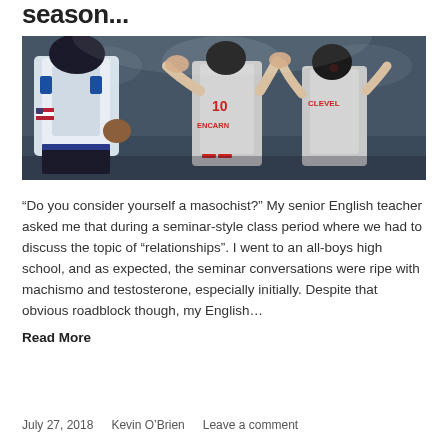season...
[Figure (photo): Baseball players celebrating: a Kansas City Royals catcher in white uniform with blue accents stands in foreground, while Cleveland Indians players (including #10 Encarnacion) celebrate in background]
“Do you consider yourself a masochist?” My senior English teacher asked me that during a seminar-style class period where we had to discuss the topic of “relationships”. I went to an all-boys high school, and as expected, the seminar conversations were ripe with machismo and testosterone, especially initially. Despite that obvious roadblock though, my English… Read More
July 27, 2018    Kevin O’Brien    Leave a comment